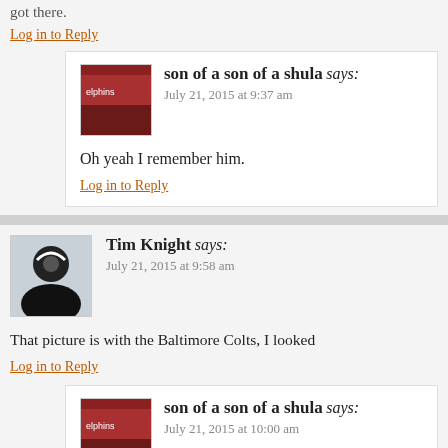got there.
Log in to Reply
son of a son of a shula says:
July 21, 2015 at 9:37 am
Oh yeah I remember him.
Log in to Reply
Tim Knight says:
July 21, 2015 at 9:58 am
That picture is with the Baltimore Colts, I looked
Log in to Reply
son of a son of a shula says:
July 21, 2015 at 10:00 am